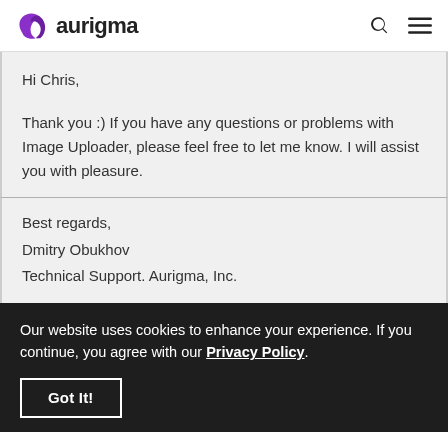aurigma
Hi Chris,
Thank you :) If you have any questions or problems with Image Uploader, please feel free to let me know. I will assist you with pleasure.
Best regards,
Dmitry Obukhov
Technical Support. Aurigma, Inc.
Our website uses cookies to enhance your experience. If you continue, you agree with our Privacy Policy.
Got It!